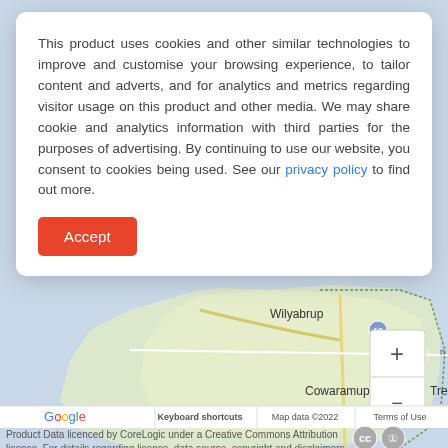[Figure (map): Google Maps showing Wilyabrup, Cowaramup, Treeton, and Gracetown area in Western Australia with zoom controls]
This product uses cookies and other similar technologies to improve and customise your browsing experience, to tailor content and adverts, and for analytics and metrics regarding visitor usage on this product and other media. We may share cookie and analytics information with third parties for the purposes of advertising. By continuing to use our website, you consent to cookies being used. See our privacy policy to find out more.
Accept
Product Data licenced by CoreLogic under a Creative Commons Attribution licence. For details regarding licence, data source, copyright and disclaimers, see